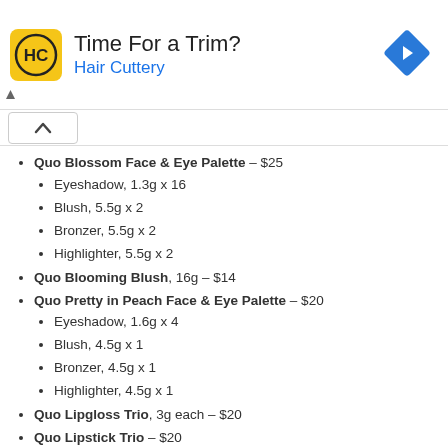[Figure (infographic): Hair Cuttery advertisement banner with yellow HC logo, 'Time For a Trim?' heading, 'Hair Cuttery' in blue, and a blue diamond-shaped navigation arrow icon on the right.]
Quo Blossom Face & Eye Palette – $25
Eyeshadow, 1.3g x 16
Blush, 5.5g x 2
Bronzer, 5.5g x 2
Highlighter, 5.5g x 2
Quo Blooming Blush, 16g – $14
Quo Pretty in Peach Face & Eye Palette – $20
Eyeshadow, 1.6g x 4
Blush, 4.5g x 1
Bronzer, 4.5g x 1
Highlighter, 4.5g x 1
Quo Lipgloss Trio, 3g each – $20
Quo Lipstick Trio – $20
Dahlia